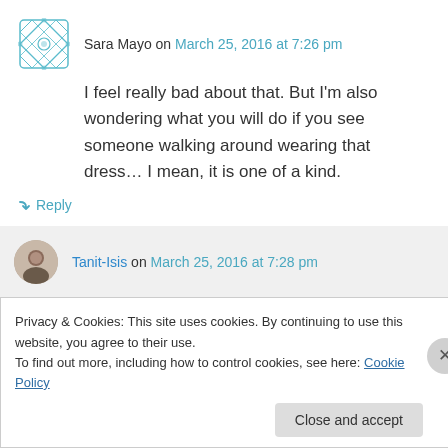Sara Mayo on March 25, 2016 at 7:26 pm
I feel really bad about that. But I'm also wondering what you will do if you see someone walking around wearing that dress… I mean, it is one of a kind.
↪ Reply
Tanit-Isis on March 25, 2016 at 7:28 pm
Privacy & Cookies: This site uses cookies. By continuing to use this website, you agree to their use.
To find out more, including how to control cookies, see here: Cookie Policy
Close and accept